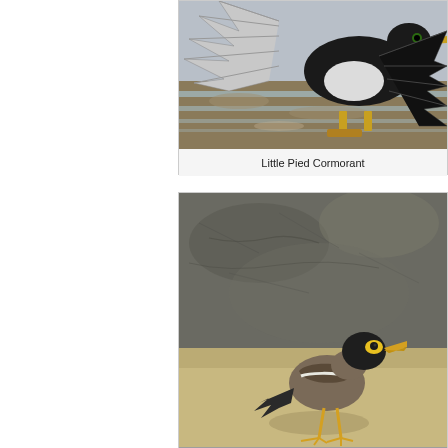[Figure (photo): Photograph of a Little Pied Cormorant bird with wings spread open, black and white plumage, standing near water with mudflats in the background]
Little Pied Cormorant
[Figure (photo): Photograph of a Common Myna bird standing on sandy/rocky ground. The bird has a dark brown/black head, yellow beak, yellow eye patch, brown body, and yellow legs.]